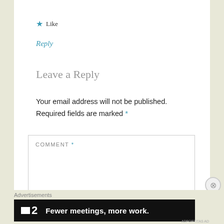Like
Reply
Leave a Reply
Your email address will not be published. Required fields are marked *
COMMENT *
Advertisements
[Figure (other): Advertisement banner: Fewer meetings, more work. (logo with square and number 2)]